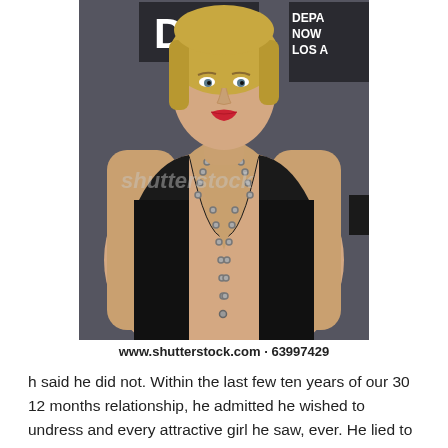[Figure (photo): A woman with short blonde hair wearing a black deep-V sleeveless dress and a long beaded necklace, photographed at an event in front of a dark backdrop with partial text visible. A Shutterstock watermark is overlaid on the image.]
www.shutterstock.com · 63997429
h said he did not. Within the last few ten years of our 30 12 months relationship, he admitted he wished to undress and every attractive girl he saw, ever. He lied to «set good instance» for me. Ugh! It caused a breech within our closeness and trust. With all the treatment we did, he finally admitted